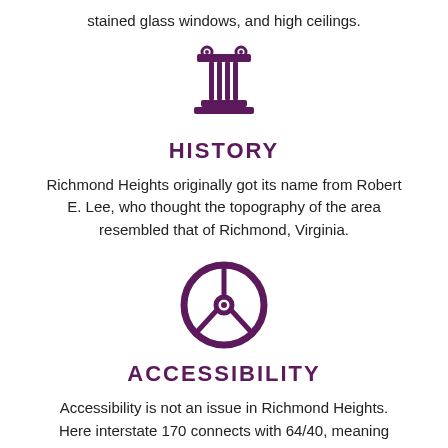stained glass windows, and high ceilings.
[Figure (illustration): Purple icon of a classical column/pillar with capital]
HISTORY
Richmond Heights originally got its name from Robert E. Lee, who thought the topography of the area resembled that of Richmond, Virginia.
[Figure (illustration): Purple icon of a steering wheel]
ACCESSIBILITY
Accessibility is not an issue in Richmond Heights. Here interstate 170 connects with 64/40, meaning easy